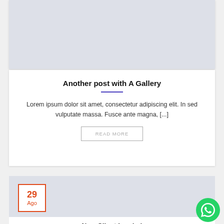[Figure (other): Partial gray image area at the top of a blog post card]
Another post with A Gallery
Lorem ipsum dolor sit amet, consectetur adipiscing elit. In sed vulputate massa. Fusce ante magna, [...]
READ MORE
[Figure (other): Gray image area of a blog post card with a date badge showing 29 Ago and a WhatsApp floating button]
New Client Landed